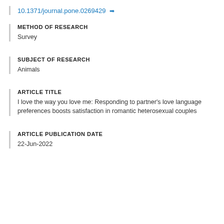10.1371/journal.pone.0269429
METHOD OF RESEARCH
Survey
SUBJECT OF RESEARCH
Animals
ARTICLE TITLE
I love the way you love me: Responding to partner's love language preferences boosts satisfaction in romantic heterosexual couples
ARTICLE PUBLICATION DATE
22-Jun-2022